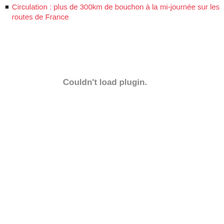Circulation : plus de 300km de bouchon à la mi-journée sur les routes de France
[Figure (other): Plugin loading error area displaying 'Couldn't load plugin.' in grey text]